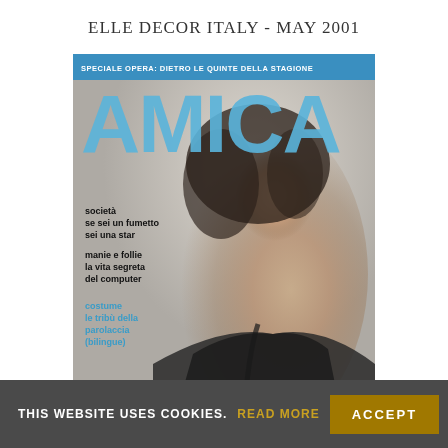ELLE DECOR ITALY - MAY 2001
[Figure (photo): Magazine cover of AMICA showing a woman with short dark hair against a light background. The cover includes the AMICA logo in large blue letters, a top banner reading 'SPECIALE OPERA: DIETRO LE QUINTE DELLA STAGIONE', and cover lines in Italian: 'società se sei un fumetto sei una star', 'manie e follie la vita segreta del computer', 'costume le tribù della parolaccia (bilingue)']
THIS WEBSITE USES COOKIES.  READ MORE  ACCEPT